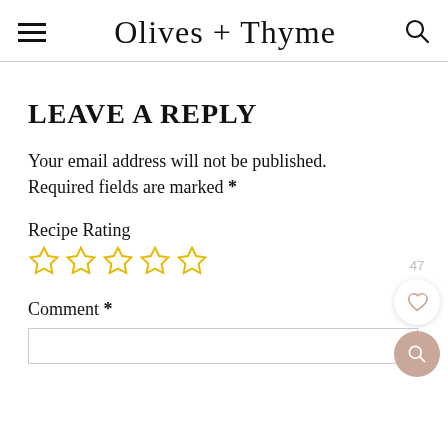Olives + Thyme
LEAVE A REPLY
Your email address will not be published. Required fields are marked *
Recipe Rating
[Figure (other): Five empty star rating icons in gold/yellow outline]
Comment *
[Figure (other): Floating like button with count 47 and search button]